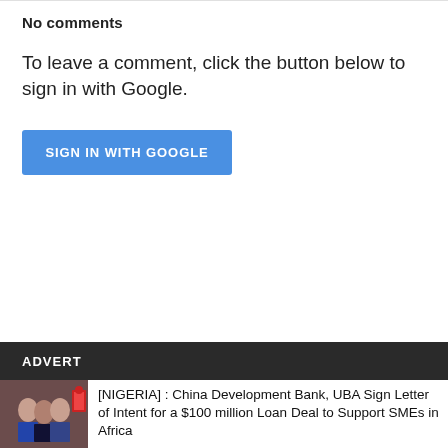No comments
To leave a comment, click the button below to sign in with Google.
[Figure (other): Blue button labeled SIGN IN WITH GOOGLE]
ADVERT
[Figure (photo): Group of people photo thumbnail for article]
[NIGERIA] : China Development Bank, UBA Sign Letter of Intent for a $100 million Loan Deal to Support SMEs in Africa